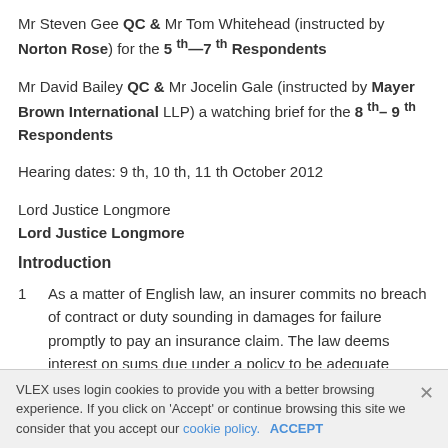Mr Steven Gee QC & Mr Tom Whitehead (instructed by Norton Rose) for the 5th—7th Respondents
Mr David Bailey QC & Mr Jocelin Gale (instructed by Mayer Brown International LLP) a watching brief for the 8th– 9th Respondents
Hearing dates: 9 th, 10 th, 11 th October 2012
Lord Justice Longmore
Lord Justice Longmore
Introduction
1  As a matter of English law, an insurer commits no breach of contract or duty sounding in damages for failure promptly to pay an insurance claim. The law deems interest on sums due under a policy to be adequate compensation for late payment; this is so, even if an insurer deliberately withholds sums which he knows to be due under a policy, see Sprung v
VLEX uses login cookies to provide you with a better browsing experience. If you click on 'Accept' or continue browsing this site we consider that you accept our cookie policy.  ACCEPT